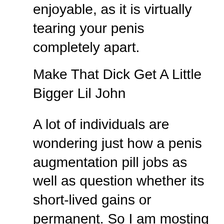enjoyable, as it is virtually tearing your penis completely apart.
Make That Dick Get A Little Bigger Lil John
A lot of individuals are wondering just how a penis augmentation pill jobs as well as question whether its short-lived gains or permanent. So I am mosting likely to address this inquiry for them. As I pointed out above, Extenze is a natural tablet and is made up of various natural components. Several of the more exotic active ingredients include points like Chinese ginseng, as well as Japanese goji berries. These interact to stimulate extra blood circulation, together with providing your penis the excitement as well as toning it that it needs to make your short-term